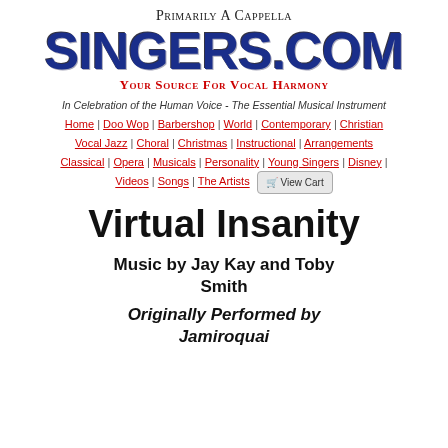Primarily A Cappella
SINGERS.COM
Your Source For Vocal Harmony
In Celebration of the Human Voice - The Essential Musical Instrument
Home | Doo Wop | Barbershop | World | Contemporary | Christian | Vocal Jazz | Choral | Christmas | Instructional | Arrangements | Classical | Opera | Musicals | Personality | Young Singers | Disney | Videos | Songs | The Artists | View Cart
Virtual Insanity
Music by Jay Kay and Toby Smith
Originally Performed by Jamiroquai